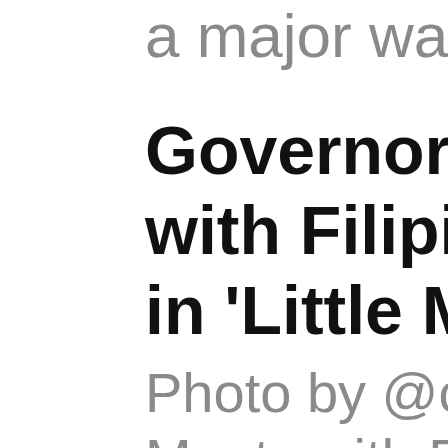a major way th
Governor Kath with Filipino Am in 'Little Manila
Photo by @c.h Meets with Fili Members in Li